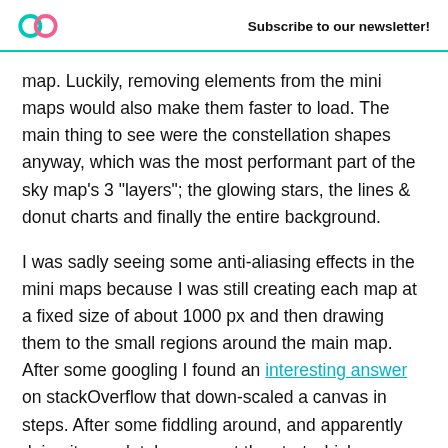Subscribe to our newsletter!
map. Luckily, removing elements from the mini maps would also make them faster to load. The main thing to see were the constellation shapes anyway, which was the most performant part of the sky map's 3 "layers"; the glowing stars, the lines & donut charts and finally the entire background.
I was sadly seeing some anti-aliasing effects in the mini maps because I was still creating each map at a fixed size of about 1000 px and then drawing them to the small regions around the main map. After some googling I found an interesting answer on stackOverflow that down-scaled a canvas in steps. After some fiddling around, and apparently doing it completely wrong at the start which gave me this